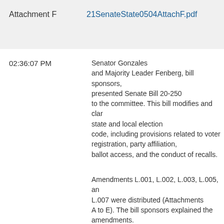Attachment F    21SenateState0504AttachF.pdf
02:36:07 PM
Senator Gonzales and Majority Leader Fenberg, bill sponsors, presented Senate Bill 20-250 to the committee. This bill modifies and clarifies state and local election code, including provisions related to voter registration, party affiliation, ballot access, and the conduct of recalls.
Amendments L.001, L.002, L.003, L.005, and L.007 were distributed (Attachments A to E). The bill sponsors explained the amendments.
02:42:13 PM
The bill sponsors responded to committee questions.